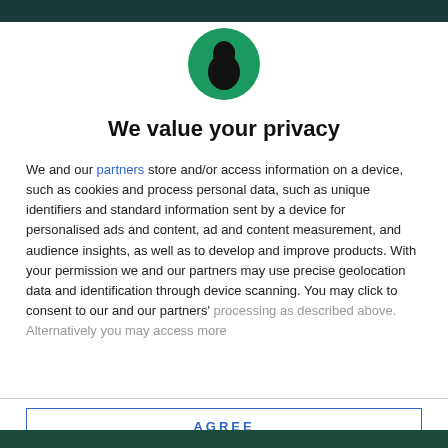[Figure (logo): Circular green logo with a black silhouette of a person wearing a hat, resembling a witch or similar figure]
We value your privacy
We and our partners store and/or access information on a device, such as cookies and process personal data, such as unique identifiers and standard information sent by a device for personalised ads and content, ad and content measurement, and audience insights, as well as to develop and improve products. With your permission we and our partners may use precise geolocation data and identification through device scanning. You may click to consent to our and our partners' processing as described above. Alternatively you may access more
AGREE
MORE OPTIONS